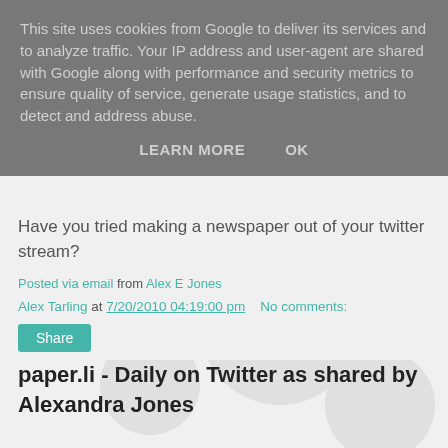This site uses cookies from Google to deliver its services and to analyze traffic. Your IP address and user-agent are shared with Google along with performance and security metrics to ensure quality of service, generate usage statistics, and to detect and address abuse.
LEARN MORE   OK
Have you tried making a newspaper out of your twitter stream?
Posted via email from Alex E Jones
Alex Tarling at 7/20/2010 04:19:00 pm   No comments:
Share
paper.li - Daily on Twitter as shared by Alexandra Jones